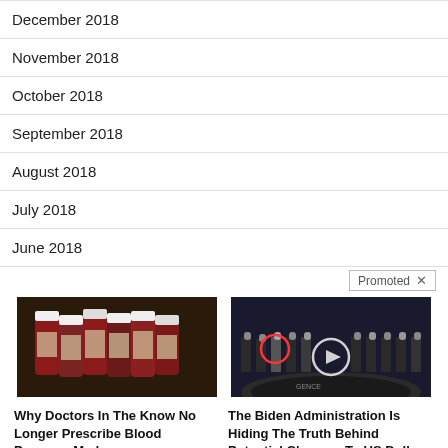December 2018
November 2018
October 2018
September 2018
August 2018
July 2018
June 2018
Promoted X
[Figure (photo): Several pill bottles arranged together on a dark surface]
Why Doctors In The Know No Longer Prescribe Blood Pressure Meds
122,849
[Figure (photo): Group of people standing in a formal setting with a CIA seal on the floor, two people circled in red and white]
The Biden Administration Is Hiding The Truth Behind Potential Changes To US Dollar
35,338